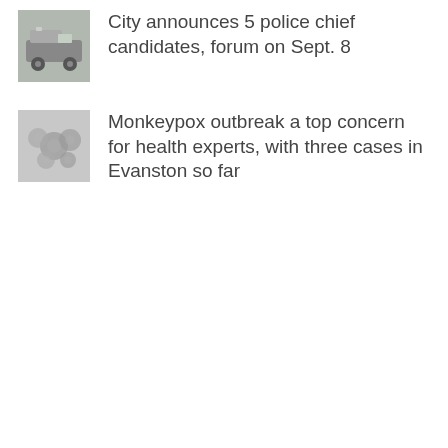[Figure (photo): Thumbnail photo of police/municipal vehicle]
City announces 5 police chief candidates, forum on Sept. 8
[Figure (photo): Thumbnail microscope image of monkeypox virus particles]
Monkeypox outbreak a top concern for health experts, with three cases in Evanston so far